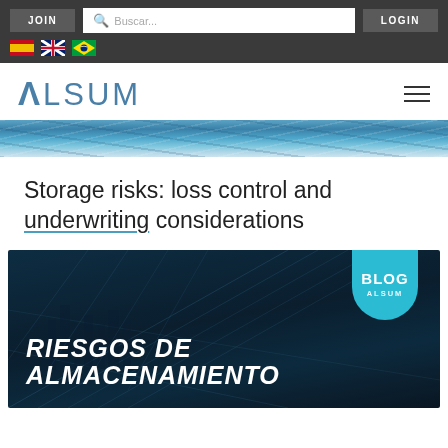JOIN | Buscar... | LOGIN | [flags: ES, UK, BR]
[Figure (logo): ALSUM logo in teal/blue with stylized A and hamburger menu icon]
[Figure (photo): Ocean waves banner image in blue tones]
Storage risks: loss control and underwriting considerations
[Figure (infographic): Dark blue blog thumbnail image with city/bridge overlay and geometric grid lines. Teal circular badge reads BLOG ALSUM. Bold white italic text reads RIESGOS DE ALMACENAMIENTO]